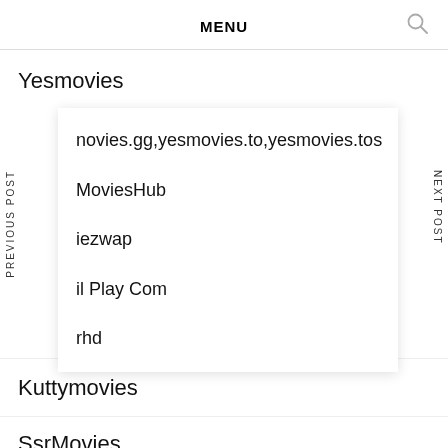MENU
Yesmovies
novies.gg,yesmovies.to,yesmovies.tos
MoviesHub
iezwap
il Play Com
rhd
Kuttymovies
SsrMovies
Movierulz